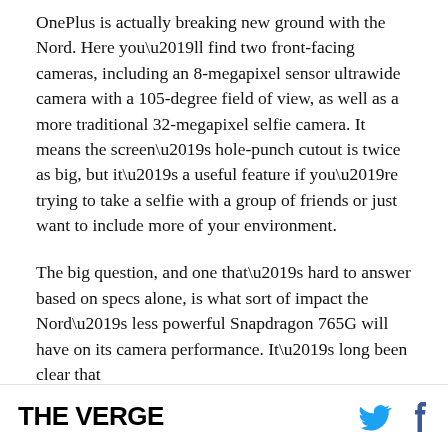OnePlus is actually breaking new ground with the Nord. Here you’ll find two front-facing cameras, including an 8-megapixel sensor ultrawide camera with a 105-degree field of view, as well as a more traditional 32-megapixel selfie camera. It means the screen’s hole-punch cutout is twice as big, but it’s a useful feature if you’re trying to take a selfie with a group of friends or just want to include more of your environment.
The big question, and one that’s hard to answer based on specs alone, is what sort of impact the Nord’s less powerful Snapdragon 765G will have on its camera performance. It’s long been clear that
THE VERGE